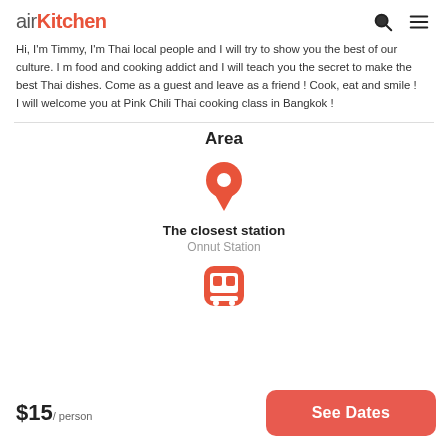airKitchen
Hi, I'm Timmy, I'm Thai local people and I will try to show you the best of our culture. I m food and cooking addict and I will teach you the secret to make the best Thai dishes. Come as a guest and leave as a friend ! Cook, eat and smile !
I will welcome you at Pink Chili Thai cooking class in Bangkok !
Area
[Figure (infographic): Orange location pin icon above text 'The closest station' and 'Onnut Station']
The closest station
Onnut Station
[Figure (infographic): Orange train/metro icon]
$15 / person
See Dates